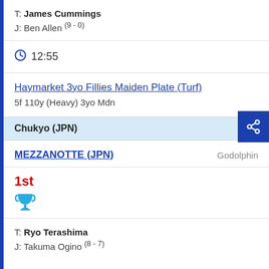T: James Cummings
J: Ben Allen (9 - 0)
12:55
Haymarket 3yo Fillies Maiden Plate (Turf)
5f 110y (Heavy) 3yo Mdn
Chukyo (JPN)
MEZZANOTTE (JPN)    Godolphin
1st
[Figure (illustration): Trophy icon in blue]
T: Ryo Terashima
J: Takuma Ogino (8 - 7)